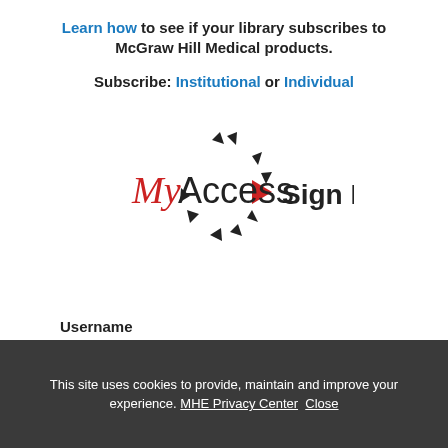Learn how to see if your library subscribes to McGraw Hill Medical products.
Subscribe: Institutional or Individual
[Figure (logo): MyAccess logo with circular arrow motif and 'Sign In' text]
Username
Password
This site uses cookies to provide, maintain and improve your experience. MHE Privacy Center  Close